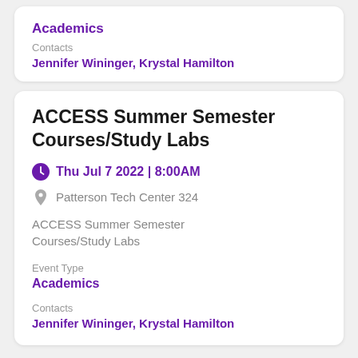Academics
Contacts
Jennifer Wininger, Krystal Hamilton
ACCESS Summer Semester Courses/Study Labs
Thu Jul 7 2022 | 8:00AM
Patterson Tech Center 324
ACCESS Summer Semester Courses/Study Labs
Event Type
Academics
Contacts
Jennifer Wininger, Krystal Hamilton